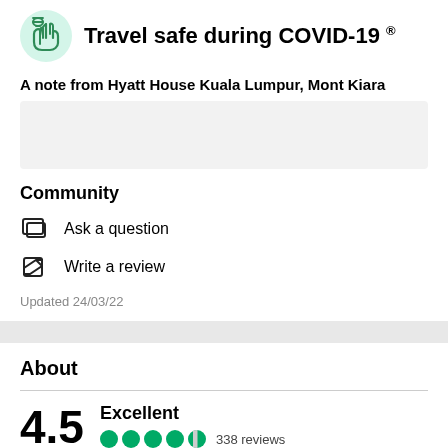Travel safe during COVID-19 ®
A note from Hyatt House Kuala Lumpur, Mont Kiara
[Figure (other): Empty grey note/message box]
Community
Ask a question
Write a review
Updated 24/03/22
About
4.5 Excellent 338 reviews